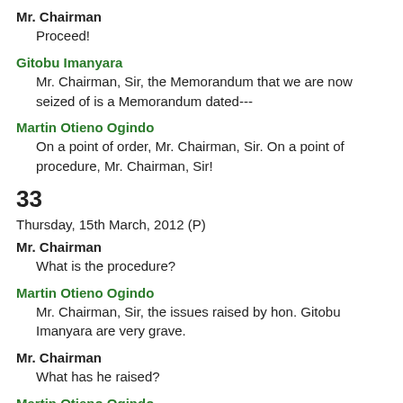Mr. Chairman
Proceed!
Gitobu Imanyara
Mr. Chairman, Sir, the Memorandum that we are now seized of is a Memorandum dated---
Martin Otieno Ogindo
On a point of order, Mr. Chairman, Sir. On a point of procedure, Mr. Chairman, Sir!
33
Thursday, 15th March, 2012 (P)
Mr. Chairman
What is the procedure?
Martin Otieno Ogindo
Mr. Chairman, Sir, the issues raised by hon. Gitobu Imanyara are very grave.
Mr. Chairman
What has he raised?
Martin Otieno Ogindo